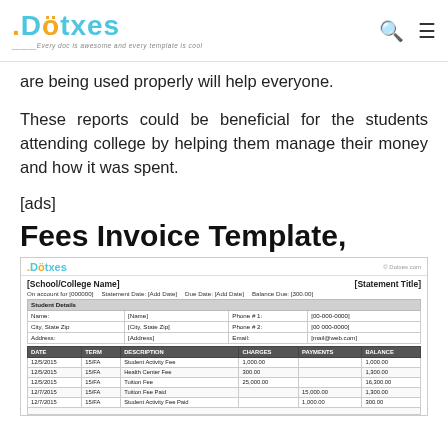Dotxes — Every doc is awesome and every template is cool
are being used properly will help everyone.
These reports could be beneficial for the students attending college by helping them manage their money and how it was spent.
[ads]
Fees Invoice Template,
[Figure (other): Fees invoice template preview showing school/college name, statement title, student details table with fields for Name, City/State/Zip, Address, Phone numbers, Email, and a charges table with columns DATE, TERM, DESCRIPTION, CHARGES, PAYMENTS, BALANCE with sample rows including Student Activity Fee, Health Center Fee, Tuition Fee, Tuition Fee Paid, Student Activity Fee Paid.]